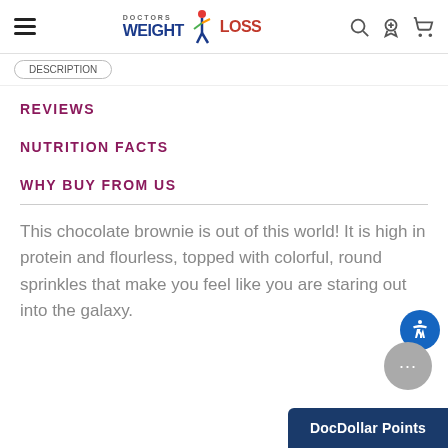Doctors Weight Loss — navigation header with hamburger menu, logo, search, rewards, and cart icons
REVIEWS
NUTRITION FACTS
WHY BUY FROM US
This chocolate brownie is out of this world! It is high in protein and flourless, topped with colorful, round sprinkles that make you feel like you are staring out into the galaxy.